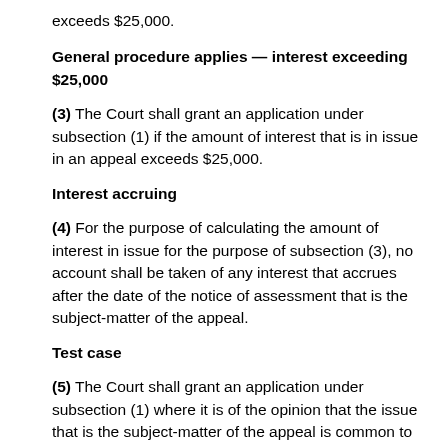exceeds $25,000.
General procedure applies — interest exceeding $25,000
(3) The Court shall grant an application under subsection (1) if the amount of interest that is in issue in an appeal exceeds $25,000.
Interest accruing
(4) For the purpose of calculating the amount of interest in issue for the purpose of subsection (3), no account shall be taken of any interest that accrues after the date of the notice of assessment that is the subject-matter of the appeal.
Test case
(5) The Court shall grant an application under subsection (1) where it is of the opinion that the issue that is the subject-matter of the appeal is common to